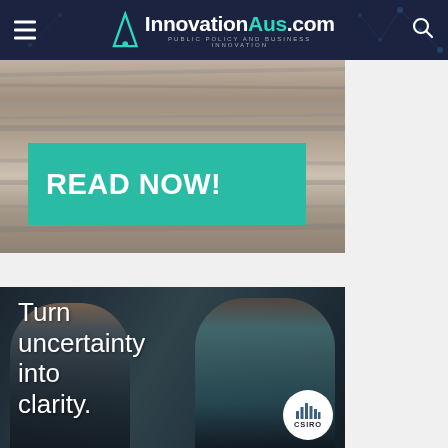InnovationAus.com — PUBLIC POLICY AND BUSINESS INNOVATION
[Figure (screenshot): Banner with teal/green READ NOW! button overlay on textured background]
[Figure (photo): CSIRO advertisement: two people talking, with text 'Turn uncertainty into clarity.' and CSIRO logo]